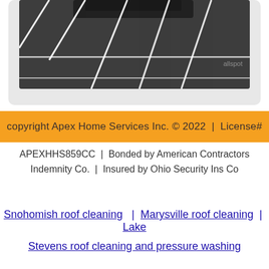[Figure (photo): Aerial or ground-level view of a parking lot with white painted parking space lines on dark asphalt. A car is partially visible at the top.]
copyright Apex Home Services Inc. © 2022 | License#
APEXHHS859CC | Bonded by American Contractors Indemnity Co. | Insured by Ohio Security Ins Co
Snohomish roof cleaning | Marysville roof cleaning | Lake Stevens roof cleaning and pressure washing